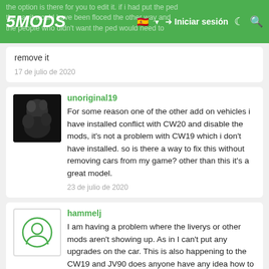5MODS — Iniciar sesión
the option is there for you to edit it. if i had put the ped the car it would have been floored the other way and the people who didn't want the ped would need to remove it
17 de julio de 2020
unoriginal19
For some reason one of the other add on vehicles i have installed conflict with CW20 and disable the mods, it's not a problem with CW19 which i don't have installed. so is there a way to fix this without removing cars from my game? other than this it's a great model.
23 de julio de 2020
hammelj
I am having a problem where the liverys or other mods aren't showing up. As in I can't put any upgrades on the car. This is also happening to the CW19 and JV90 does anyone have any idea how to fix it
3 de agosto de 2020